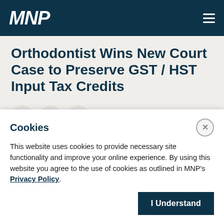MNP
Orthodontist Wins New Court Case to Preserve GST / HST Input Tax Credits
[Figure (other): Social share buttons: LinkedIn, Facebook, Twitter icons in circular grey buttons]
Progress | Insight | Professionals
Cookies
This website uses cookies to provide necessary site functionality and improve your online experience. By using this website you agree to the use of cookies as outlined in MNP's Privacy Policy.
I Understand